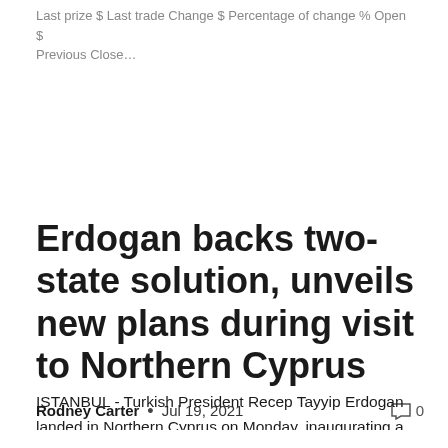Last prize $ Last trade Change $ Percentage of change % Open $ Previous Close…
Erdogan backs two-state solution, unveils new plans during visit to Northern Cyprus
Rodney Carter • Jul 19, 2021  0
ISTANBUL - Turkish President Recep Tayyip Erdogan landed in Northern Cyprus on Monday, inaugurating a two-day visit to mark the anniversary of Turkey's 1974 intervention on the island, where he reiterated his support for a solution to…